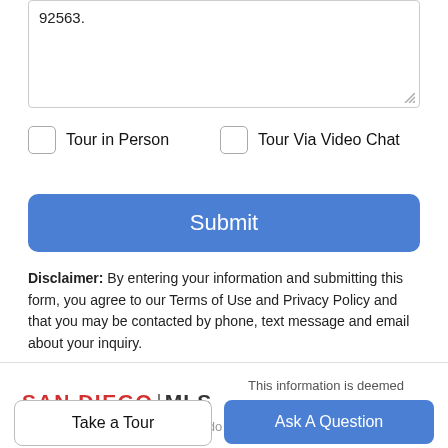92563.
Tour in Person
Tour Via Video Chat
Submit
Disclaimer: By entering your information and submitting this form, you agree to our Terms of Use and Privacy Policy and that you may be contacted by phone, text message and email about your inquiry.
[Figure (logo): San Diego MLS logo with red SAN DIEGO text and black MLS text separated by pipe]
This information is deemed reliable but not guaranteed. You should verify this information and do your diligence to...
Take a Tour
Ask A Question